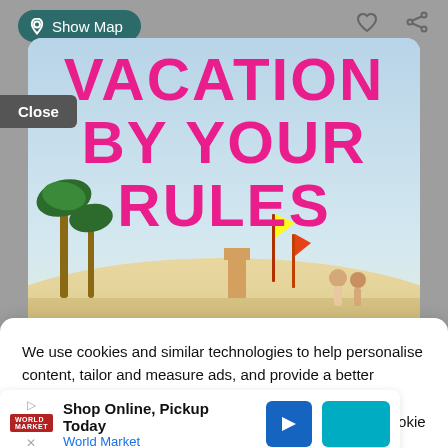[Figure (screenshot): App UI screenshot showing a travel app with Show Map button, heart and share icons in top bar, and a beach vacation advertisement card with pink bold text 'VACATION BY YOUR RULES' and 'BEACHSEARCHER INDIVIDUAL TOURS' overlaid on a beach scene photo.]
We use cookies and similar technologies to help personalise content, tailor and measure ads, and provide a better experience. By clicking OK you agree to this. To change preferences or withdraw consent, please update your Cookie Settings.
Close
Shop Online, Pickup Today
World Market